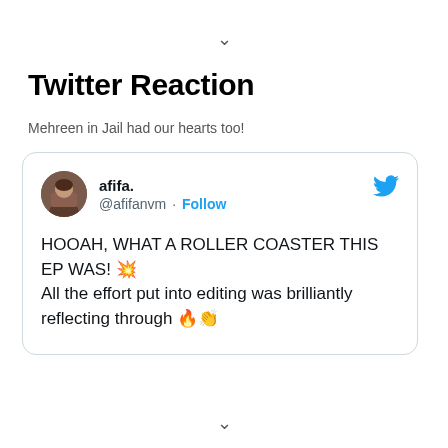Twitter Reaction
Mehreen in Jail had our hearts too!
[Figure (screenshot): Tweet from user afifa. (@afifanvm) with Follow button and Twitter bird icon. Tweet text: HOOAH, WHAT A ROLLER COASTER THIS EP WAS! 💥 All the effort put into editing was brilliantly reflecting through 🔥👏]